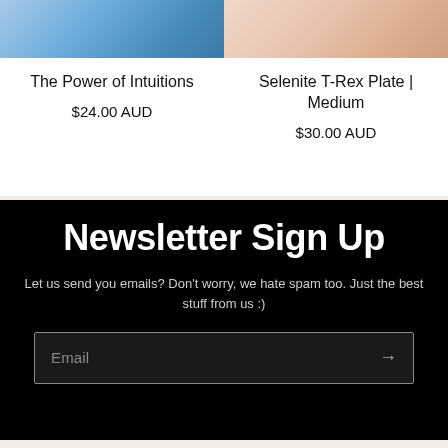[Figure (photo): Product image for The Power of Intuitions - blue background with hand/fingers visible]
The Power of Intuitions
$24.00 AUD
[Figure (photo): Product image for Selenite T-Rex Plate Medium - skin-toned background with hand visible]
Selenite T-Rex Plate | Medium
$30.00 AUD
Newsletter Sign Up
Let us send you emails? Don't worry, we hate spam too. Just the best stuff from us :)
Email